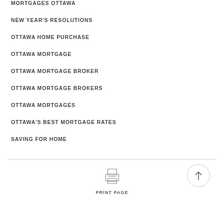MORTGAGES OTTAWA
NEW YEAR'S RESOLUTIONS
OTTAWA HOME PURCHASE
OTTAWA MORTGAGE
OTTAWA MORTGAGE BROKER
OTTAWA MORTGAGE BROKERS
OTTAWA MORTGAGES
OTTAWA'S BEST MORTGAGE RATES
SAVING FOR HOME
[Figure (illustration): Printer icon with 'PRINT PAGE' label below]
↑ scroll to top button